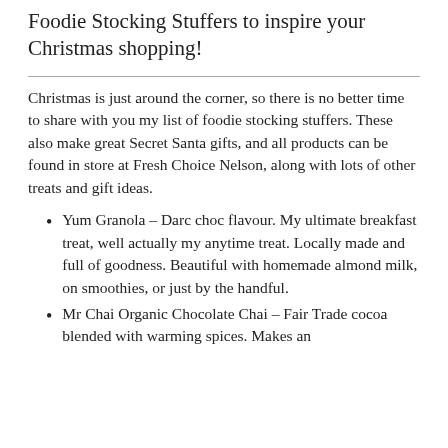Foodie Stocking Stuffers to inspire your Christmas shopping!
Christmas is just around the corner, so there is no better time to share with you my list of foodie stocking stuffers. These also make great Secret Santa gifts, and all products can be found in store at Fresh Choice Nelson, along with lots of other treats and gift ideas.
Yum Granola – Darc choc flavour. My ultimate breakfast treat, well actually my anytime treat. Locally made and full of goodness. Beautiful with homemade almond milk, on smoothies, or just by the handful.
Mr Chai Organic Chocolate Chai – Fair Trade cocoa blended with warming spices. Makes an